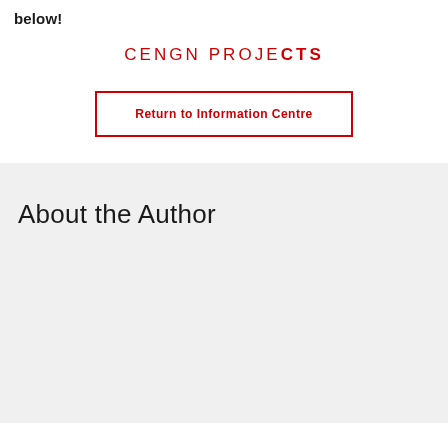below!
CENGN PROJECTS
Return to Information Centre
About the Author